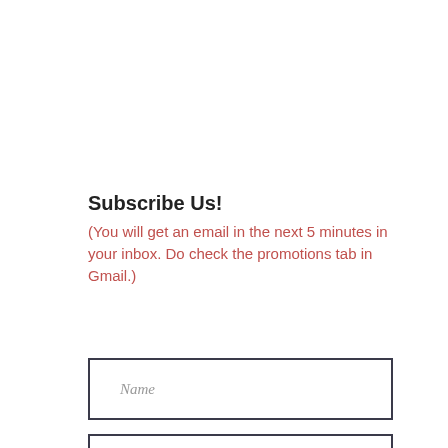Subscribe Us!
(You will get an email in the next 5 minutes in your inbox. Do check the promotions tab in Gmail.)
[Figure (other): Name input field - empty text box with placeholder text 'Name']
[Figure (other): Email input field - empty text box with placeholder text 'Email']
[Figure (other): Phone input field - empty text box with placeholder text 'Phone', with a grey scroll-to-top button overlapping the right side]
[Figure (other): Subscribe button - dark navy rectangular button with white text 'Subscribe']